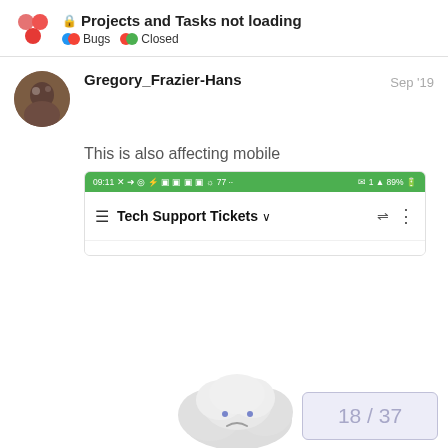🔒 Projects and Tasks not loading — Bugs • Closed
Gregory_Frazier-Hans
Sep '19
This is also affecting mobile
[Figure (screenshot): Mobile app screenshot showing green status bar with 09:11 time and 89% battery, and app bar with 'Tech Support Tickets' title]
[Figure (illustration): Sad cloud illustration (empty state)]
18 / 37